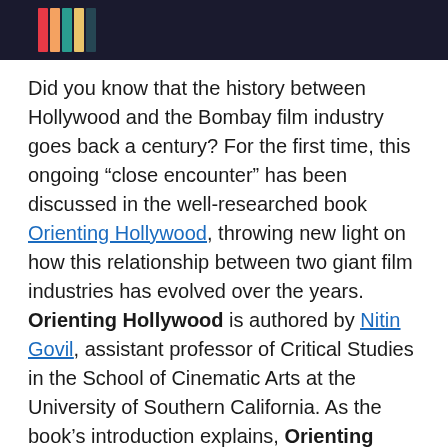[Figure (photo): Dark image strip at top with colorful bar segments on left side, showing the top of a photograph or graphic.]
Did you know that the history between Hollywood and the Bombay film industry goes back a century? For the first time, this ongoing “close encounter” has been discussed in the well-researched book Orienting Hollywood, throwing new light on how this relationship between two giant film industries has evolved over the years. Orienting Hollywood is authored by Nitin Govil, assistant professor of Critical Studies in the School of Cinematic Arts at the University of Southern California. As the book’s introduction explains, Orienting Hollywood moves “beyond the conventional popular wisdom that Hollywood and Bombay cinema have only recently become interwined because of economic priorities and instead uncovers a longer history of exchange.”